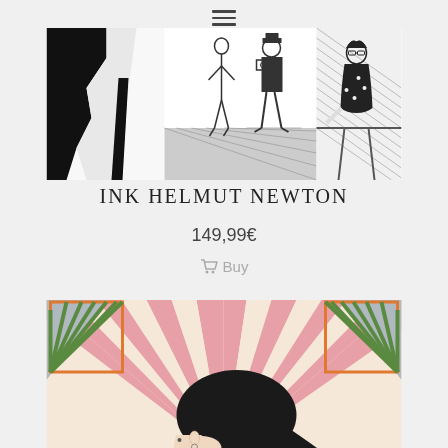[Figure (screenshot): Hamburger menu icon (three horizontal lines)]
[Figure (illustration): Book cover illustration for Ink Helmut Newton – black and white drawings showing figures including a nude woman, a photographer, and a seated woman]
INK HELMUT NEWTON
149,99€
Buy
[Figure (illustration): Colorful art deco style illustration with a woman with dark hair viewed from behind, surrounded by radiating fan-like geometric decorations in orange, green, pink and grey]